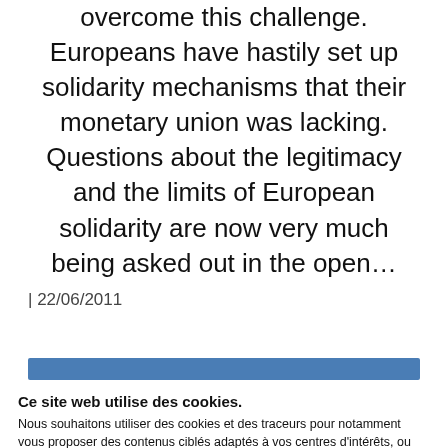overcome this challenge. Europeans have hastily set up solidarity mechanisms that their monetary union was lacking. Questions about the legitimacy and the limits of European solidarity are now very much being asked out in the open…
| 22/06/2011
[Figure (other): Blue horizontal bar/banner element]
Ce site web utilise des cookies.
Nous souhaitons utiliser des cookies et des traceurs pour notamment vous proposer des contenus ciblés adaptés à vos centres d'intérêts, ou réaliser des statistiques de visites. Lisez notre politique de confidentialité pour connaître l'ensemble des informations sur notre usage de vos données à caractèrespersonnel.